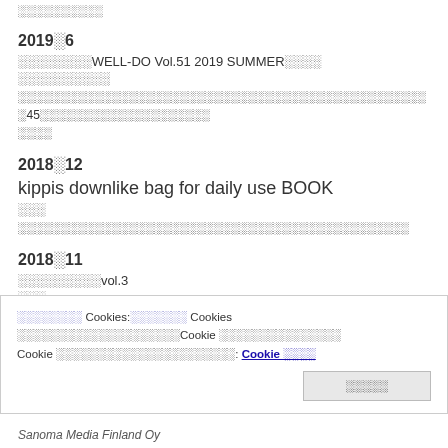░░░░░░░░░░
2019░6
░░░░░░░░WELL-DO Vol.51 2019 SUMMER░░░░
░░░░░░░░░░
░░░░░░░░░░░░░░░░░░░░░░░░░░░░░░░░░░░░░░░░░░░░░░░░ ░45░░░░░░░░░░░░░░░░░░░░
2018░12
kippis downlike bag for daily use BOOK
░░░
░░░░░░░░░░░░░░░░░░░░░░░░░░░░░░░░░░░░░░░░░░░░░░
2018░11
░░░░░░░░░vol.3
░░░
░░░░░░░░ Cookies:░░░░░░░ Cookies ░░░░░░░░░░░░░░░░░░░░Cookie ░░░░░░░░░░░░░░░ Cookie ░░░░░░░░░░░░░░░░░░░░░░: Cookie ░░░░
░░░░░░
Sanoma Media Finland Oy